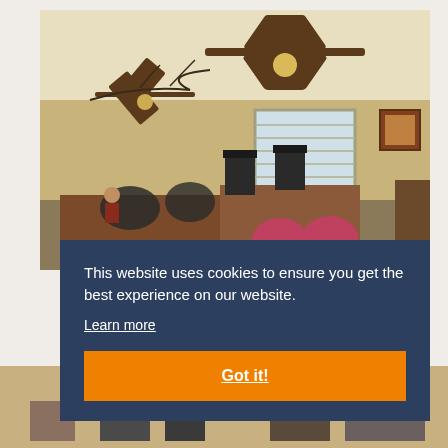[Figure (photo): Interior office room with ceiling fan, desks, office chairs, pink/red visitor chairs, computers, and blinds on windows]
This website uses cookies to ensure you get the best experience on our website.
Learn more
Got it!
[Figure (photo): Bottom partial view of another room interior]